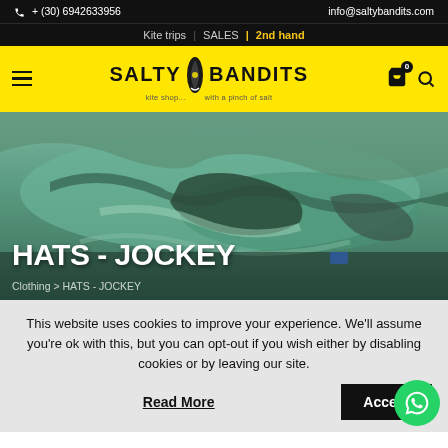+ (30) 6942633956 | info@saltybandits.com
Kite trips | SALES | 2nd hand
[Figure (logo): Salty Bandits kite shop logo on yellow background with surfboard icon, tagline 'kite shop... with a pinch of salt']
[Figure (photo): Aerial view of coastal/lagoon area with turquoise water and land formations]
HATS - JOCKEY
Clothing > HATS - JOCKEY
This website uses cookies to improve your experience. We'll assume you're ok with this, but you can opt-out if you wish either by disabling cookies or by leaving our site.
Read More